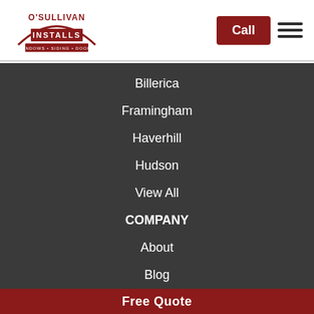[Figure (logo): O'Sullivan Installs logo - Windows, Siding, Doors]
Call
Billerica
Framingham
Haverhill
Hudson
View All
COMPANY
About
Blog
Free Quote